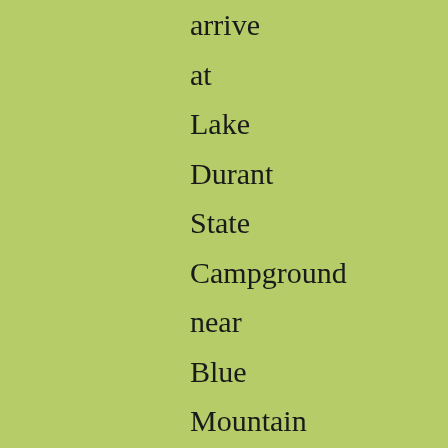arrive at Lake Durant State Campground near Blue Mountain Lake. Be sure to check out the NY DEC website at